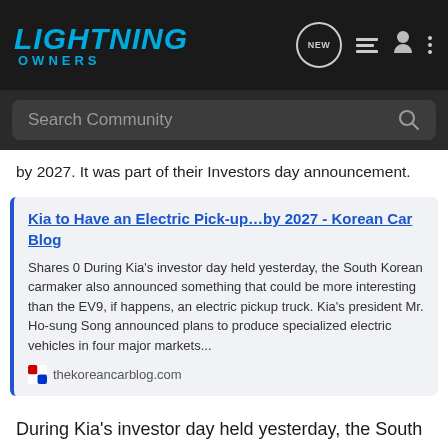LIGHTNING OWNERS
by 2027. It was part of their Investors day announcement.
Kia to Have an Electric Pick-up…by 2027 - Korean Car Blog
Shares 0 During Kia's investor day held yesterday, the South Korean carmaker also announced something that could be more interesting than the EV9, if happens, an electric pickup truck. Kia's president Mr. Ho-sung Song announced plans to produce specialized electric vehicles in four major markets...
thekoreancarblog.com
During Kia's investor day held yesterday, the South Korean carmaker also announced something that could be more